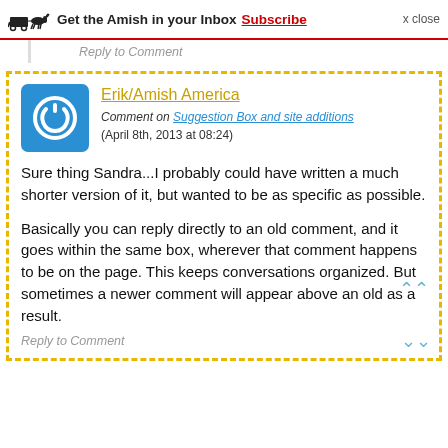Get the Amish in your Inbox Subscribe x close
Reply to Comment
Erik/Amish America
Comment on Suggestion Box and site additions
(April 8th, 2013 at 08:24)
Sure thing Sandra...I probably could have written a much shorter version of it, but wanted to be as specific as possible.

Basically you can reply directly to an old comment, and it goes within the same box, wherever that comment happens to be on the page. This keeps conversations organized. But sometimes a newer comment will appear above an old as a result.
Reply to Comment